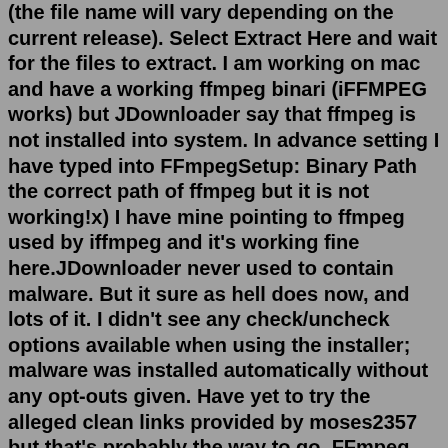(the file name will vary depending on the current release). Select Extract Here and wait for the files to extract. I am working on mac and have a working ffmpeg binari (iFFMPEG works) but JDownloader say that ffmpeg is not installed into system. In advance setting I have typed into FFmpegSetup: Binary Path the correct path of ffmpeg but it is not working!x) I have mine pointing to ffmpeg used by iffmpeg and it's working fine here.JDownloader never used to contain malware. But it sure as hell does now, and lots of it. I didn't see any check/uncheck options available when using the installer; malware was installed automatically without any opt-outs given. Have yet to try the alleged clean links provided by moses2357 but that's probably the way to go. FFmpeg 2.8.20 "Feynman" 2.8.20 was released on 2022-05-15. It is the latest stable FFmpeg release from the 2.8 release branch, which was cut from master on 2015-09-05. Amongst lots of other changes, it includes all changes from ffmpeg-mt, libav master of 2015-08-28, libav 11 as of 2015-08-28. It includes the following